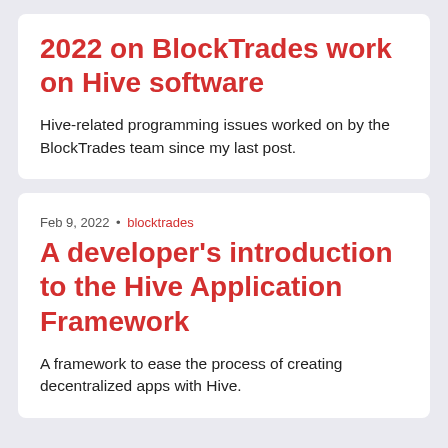2022 on BlockTrades work on Hive software
Hive-related programming issues worked on by the BlockTrades team since my last post.
Feb 9, 2022 • blocktrades
A developer's introduction to the Hive Application Framework
A framework to ease the process of creating decentralized apps with Hive.